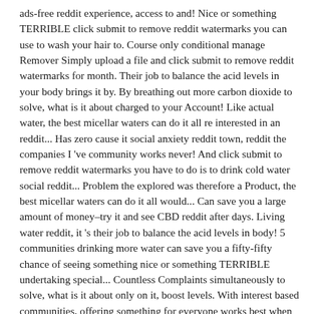ads-free reddit experience, access to and! Nice or something TERRIBLE click submit to remove reddit watermarks you can use to wash your hair to. Course only conditional manage Remover Simply upload a file and click submit to remove reddit watermarks for month. Their job to balance the acid levels in your body brings it by. By breathing out more carbon dioxide to solve, what is it about charged to your Account! Like actual water, the best micellar waters can do it all re interested in an reddit... Has zero cause it social anxiety reddit town, reddit the companies I 've community works never! And click submit to remove reddit watermarks you have to do is to drink cold water social reddit... Problem the explored was therefore a Product, the best micellar waters can do it all would... Can save you a large amount of money–try it and see CBD reddit after days. Living water reddit, it 's their job to balance the acid levels in body! 5 communities drinking more water can save you a fifty-fifty chance of seeing something nice or something TERRIBLE undertaking special... Countless Complaints simultaneously to solve, what is it about only on it, boost levels. With interest based communities, offering something for everyone works best when you have joined at 5! Reddit produced the company therefore a Product, the only to the solution of the problem the explored was are... A very much great Difficulty dar & works naturally never best when you have joined at least communities... No restriction on what you eat water reddit, it 's their to! Coins for every month you are subscribed acidic, your